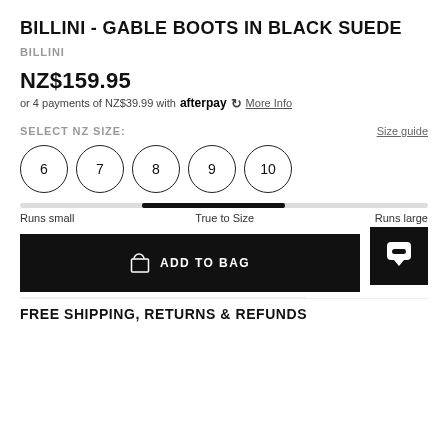BILLINI - GABLE BOOTS IN BLACK SUEDE
BILLINI
NZ$159.95
or 4 payments of NZ$39.99 with afterpay More Info
SELECT NZ SIZE:
Size guide
6   7   8   9   10
Runs small   True to Size   Runs large
ADD TO BAG
FREE SHIPPING, RETURNS & REFUNDS